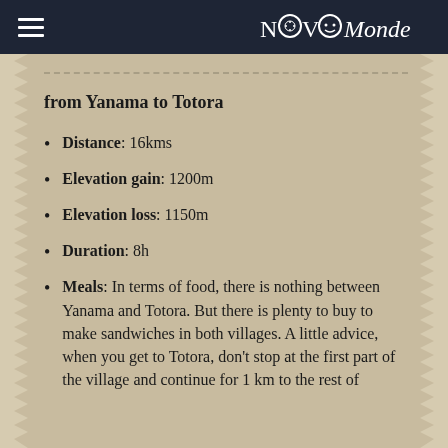NovoMonde
from Yanama to Totora
Distance: 16kms
Elevation gain: 1200m
Elevation loss: 1150m
Duration: 8h
Meals: In terms of food, there is nothing between Yanama and Totora. But there is plenty to buy to make sandwiches in both villages. A little advice, when you get to Totora, don't stop at the first part of the village and continue for 1 km to the rest of